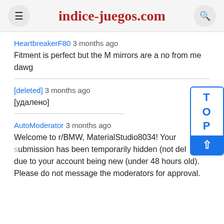indice-juegos.com
HeartbreakerF80 3 months ago
Fitment is perfect but the M mirrors are a no from me dawg
[deleted] 3 months ago
[удалено]
AutoModerator 3 months ago
Welcome to r/BMW, MaterialStudio8034! Your submission has been temporarily hidden (not deleted) due to your account being new (under 48 hours old). Please do not message the moderators for approval.